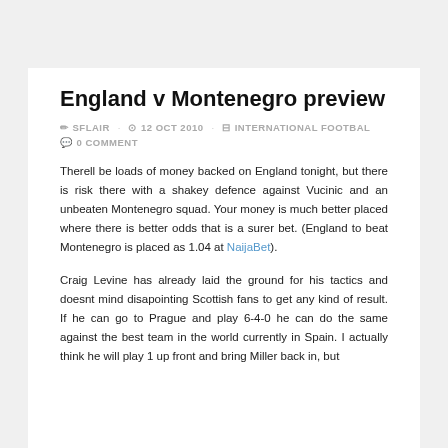England v Montenegro preview
✏ SFLAIR  🕐 12 OCT 2010  📂 INTERNATIONAL FOOTBAL  💬 0 COMMENT
Therell be loads of money backed on England tonight, but there is risk there with a shakey defence against Vucinic and an unbeaten Montenegro squad. Your money is much better placed where there is better odds that is a surer bet. (England to beat Montenegro is placed as 1.04 at NaijaBet).
Craig Levine has already laid the ground for his tactics and doesnt mind disapointing Scottish fans to get any kind of result. If he can go to Prague and play 6-4-0 he can do the same against the best team in the world currently in Spain. I actually think he will play 1 up front and bring Miller back in, but